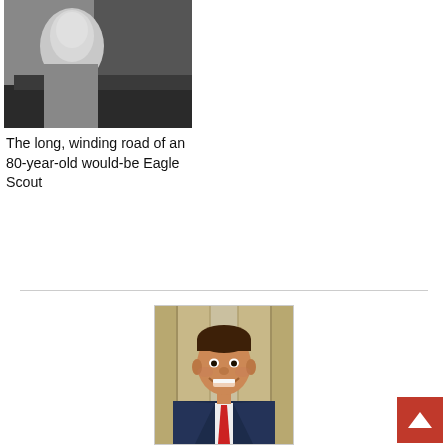[Figure (photo): Black and white photo of an elderly person outdoors]
The long, winding road of an 80-year-old would-be Eagle Scout
[Figure (photo): Color photo of Bryan Wendell, a smiling young man in a suit with a red tie, standing in front of columns]
About Bryan Wendell > 3270 Articles
Bryan Wendell, an Eagle Scout, is the founder of Bryan on Scouting and a contributing writer.